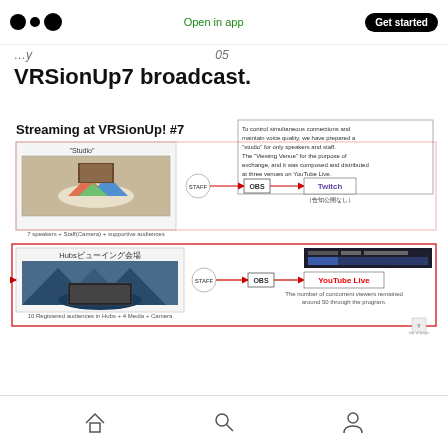Open in app | Get started
VRSionUp7 broadcast.
[Figure (infographic): Streaming at VRSionUp! #7 diagram showing Studio with 7 speakers + Staff(Camera) + supportive audiences connected via STAFF -> OBS -> Twitch (告知公開なし), and Hubs viewing venue with 10 Registered audiences in Hubs + 4 Media + Camera connected via STAFF -> OBS -> YouTube Live. The number of concurrent viewers remained around 50 through the program.]
Home, Search, Profile icons